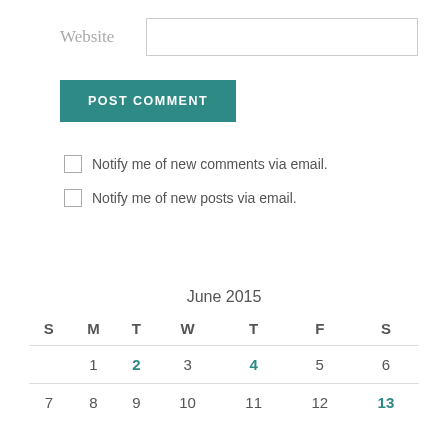Website
POST COMMENT
Notify me of new comments via email.
Notify me of new posts via email.
June 2015
| S | M | T | W | T | F | S |
| --- | --- | --- | --- | --- | --- | --- |
|  | 1 | 2 | 3 | 4 | 5 | 6 |
| 7 | 8 | 9 | 10 | 11 | 12 | 13 |